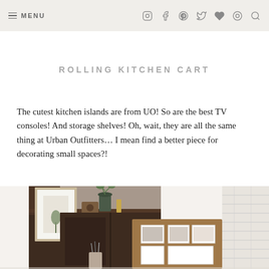≡ MENU | icons: instagram, facebook, pinterest, twitter, heart, target, search
ROLLING KITCHEN CART
The cutest kitchen islands are from UO! So are the best TV consoles! And storage shelves! Oh, wait, they are all the same thing at Urban Outfitters… I mean find a better piece for decorating small spaces?!
[Figure (photo): A dark walnut rolling kitchen cart/storage unit styled with a framed plant print, a small potted plant, a vintage-style radio, and a corkboard with photos, against a white wall with exposed brick]